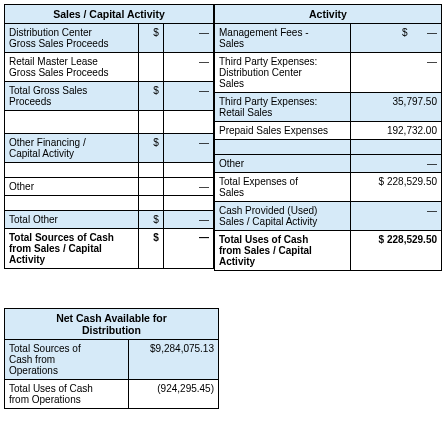| Sales / Capital Activity |  |  |
| --- | --- | --- |
| Distribution Center Gross Sales Proceeds | $ | — |
| Retail Master Lease Gross Sales Proceeds |  | — |
| Total Gross Sales Proceeds | $ | — |
| Other Financing / Capital Activity | $ | — |
| Other |  | — |
| Total Other | $ | — |
| Total Sources of Cash from Sales / Capital Activity | $ | — |
| Activity |  |  |
| --- | --- | --- |
| Management Fees - Sales | $ | — |
| Third Party Expenses: Distribution Center Sales |  | — |
| Third Party Expenses: Retail Sales |  | 35,797.50 |
| Prepaid Sales Expenses |  | 192,732.00 |
| Other |  | — |
| Total Expenses of Sales |  | $ 228,529.50 |
| Cash Provided (Used) Sales / Capital Activity |  | — |
| Total Uses of Cash from Sales / Capital Activity |  | $ 228,529.50 |
| Net Cash Available for Distribution |  |  |
| --- | --- | --- |
| Total Sources of Cash from Operations |  | $9,284,075.13 |
| Total Uses of Cash from Operations |  | (924,295.45) |